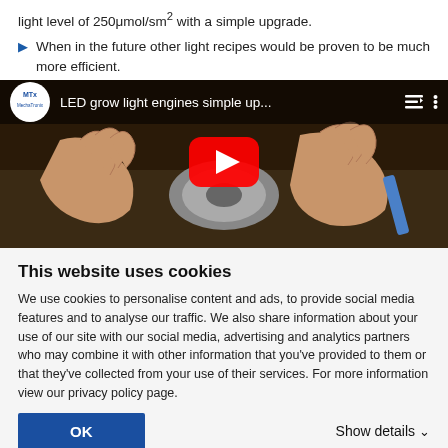light level of 250μmol/sm² with a simple upgrade.
When in the future other light recipes would be proven to be much more efficient.
[Figure (screenshot): YouTube video thumbnail showing hands working on LED grow light engine hardware. Video title: 'LED grow light engines simple up...' with MechaTronix channel logo, play button overlay, and video controls.]
This website uses cookies
We use cookies to personalise content and ads, to provide social media features and to analyse our traffic. We also share information about your use of our site with our social media, advertising and analytics partners who may combine it with other information that you've provided to them or that they've collected from your use of their services. For more information view our privacy policy page.
OK
Show details